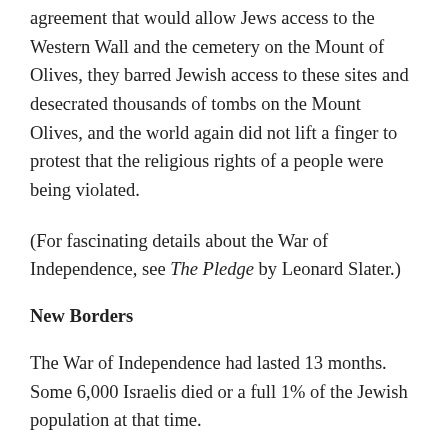agreement that would allow Jews access to the Western Wall and the cemetery on the Mount of Olives, they barred Jewish access to these sites and desecrated thousands of tombs on the Mount Olives, and the world again did not lift a finger to protest that the religious rights of a people were being violated.
(For fascinating details about the War of Independence, see The Pledge by Leonard Slater.)
New Borders
The War of Independence had lasted 13 months. Some 6,000 Israelis died or a full 1% of the Jewish population at that time.
(truncated/cut off at bottom of page)